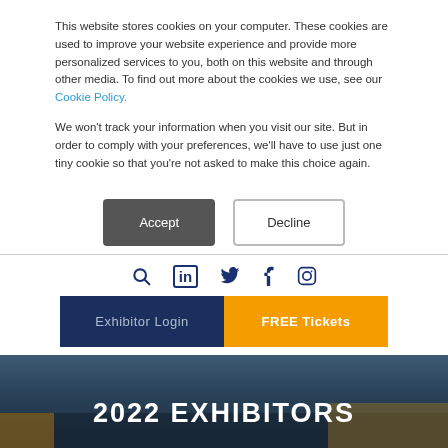This website stores cookies on your computer. These cookies are used to improve your website experience and provide more personalized services to you, both on this website and through other media. To find out more about the cookies we use, see our Cookie Policy.
We won't track your information when you visit our site. But in order to comply with your preferences, we'll have to use just one tiny cookie so that you're not asked to make this choice again.
[Figure (screenshot): Two buttons: 'Accept' (dark grey filled) and 'Decline' (white with border outline)]
[Figure (screenshot): Navigation bar with social/search icons: search magnifier, LinkedIn 'in', Twitter bird, Facebook 'f', Instagram circle]
[Figure (screenshot): Two CTA buttons side by side: 'Exhibitor Login' (dark navy background) and 'FREE Tickets' (orange background)]
2022 EXHIBITORS